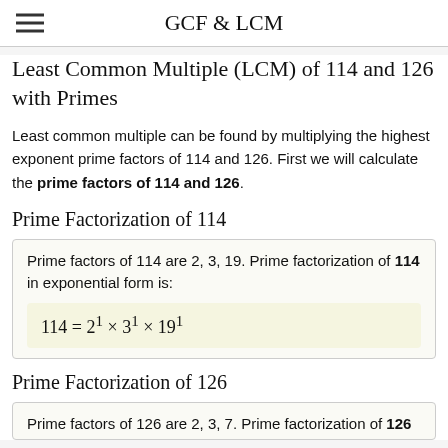GCF & LCM
Least Common Multiple (LCM) of 114 and 126 with Primes
Least common multiple can be found by multiplying the highest exponent prime factors of 114 and 126. First we will calculate the prime factors of 114 and 126.
Prime Factorization of 114
Prime factors of 114 are 2, 3, 19. Prime factorization of 114 in exponential form is:
Prime Factorization of 126
Prime factors of 126 are 2, 3, 7. Prime factorization of 126 in exponential form is: